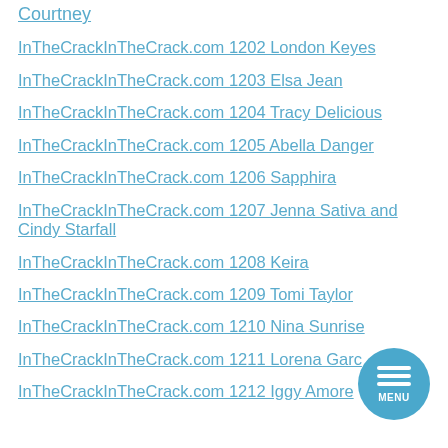Courtney
InTheCrackInTheCrack.com 1202 London Keyes
InTheCrackInTheCrack.com 1203 Elsa Jean
InTheCrackInTheCrack.com 1204 Tracy Delicious
InTheCrackInTheCrack.com 1205 Abella Danger
InTheCrackInTheCrack.com 1206 Sapphira
InTheCrackInTheCrack.com 1207 Jenna Sativa and Cindy Starfall
InTheCrackInTheCrack.com 1208 Keira
InTheCrackInTheCrack.com 1209 Tomi Taylor
InTheCrackInTheCrack.com 1210 Nina Sunrise
InTheCrackInTheCrack.com 1211 Lorena Garcia
InTheCrackInTheCrack.com 1212 Iggy Amore